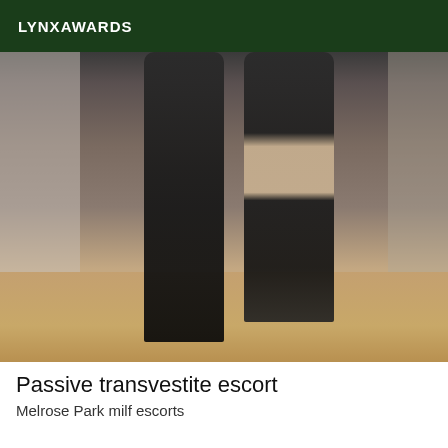LYNXAWARDS
[Figure (photo): Photo of a person's legs wearing black lace stockings and high heels, standing on a wooden floor with a grey background.]
Passive transvestite escort
Melrose Park milf escorts